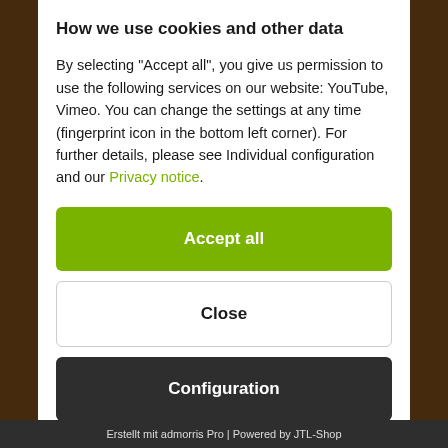How we use cookies and other data
By selecting "Accept all", you give us permission to use the following services on our website: YouTube, Vimeo. You can change the settings at any time (fingerprint icon in the bottom left corner). For further details, please see Individual configuration and our Privacy notice.
Accept all
Close
Configuration
Erstellt mit admorris Pro | Powered by JTL-Shop